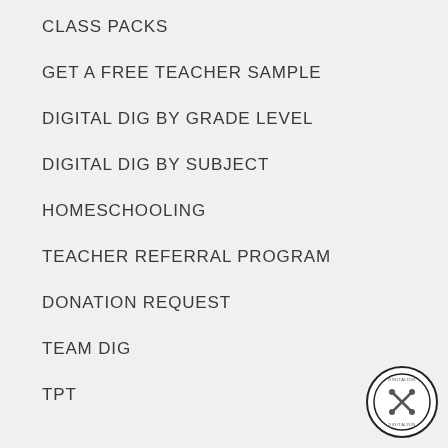CLASS PACKS
GET A FREE TEACHER SAMPLE
DIGITAL DIG BY GRADE LEVEL
DIGITAL DIG BY SUBJECT
HOMESCHOOLING
TEACHER REFERRAL PROGRAM
DONATION REQUEST
TEAM DIG
TPT
[Figure (logo): Circular logo with crossed tools icon and text around the border]